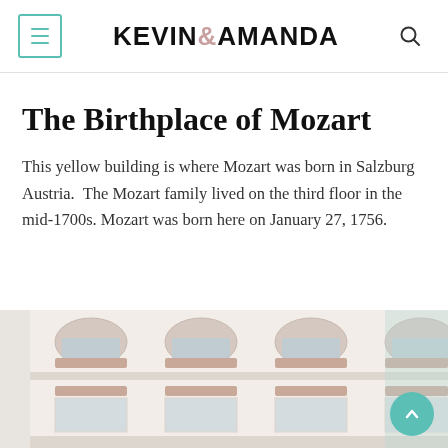KEVIN & AMANDA
The Birthplace of Mozart
This yellow building is where Mozart was born in Salzburg Austria.  The Mozart family lived on the third floor in the mid-1700s. Mozart was born here on January 27, 1756.
[Figure (photo): Photograph of the yellow building in Salzburg Austria where Mozart was born, showing windows and facade detail]